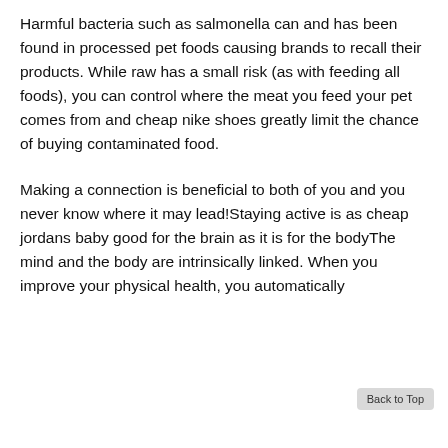Harmful bacteria such as salmonella can and has been found in processed pet foods causing brands to recall their products. While raw has a small risk (as with feeding all foods), you can control where the meat you feed your pet comes from and cheap nike shoes greatly limit the chance of buying contaminated food.
Making a connection is beneficial to both of you and you never know where it may lead!Staying active is as cheap jordans baby good for the brain as it is for the bodyThe mind and the body are intrinsically linked. When you improve your physical health, you automatically